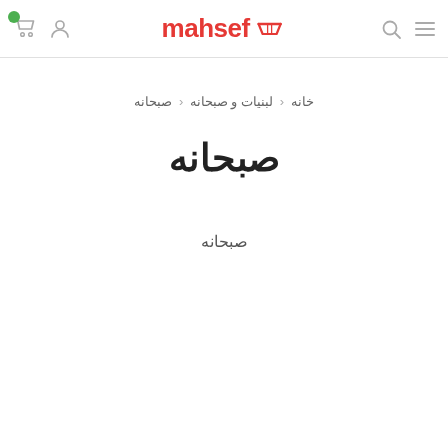[Figure (logo): Mahsef e-commerce website header with logo, cart icon, user icon, search icon, and menu icon]
خانه ‹ لبنیات و صبحانه ‹ صبحانه
صبحانه
صبحانه